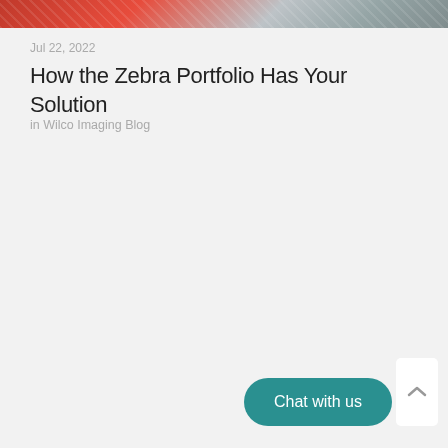[Figure (photo): Partial view of a warehouse or logistics area with red and pink colored machinery or vehicles, and metallic structures]
Jul 22, 2022
How the Zebra Portfolio Has Your Solution
in Wilco Imaging Blog